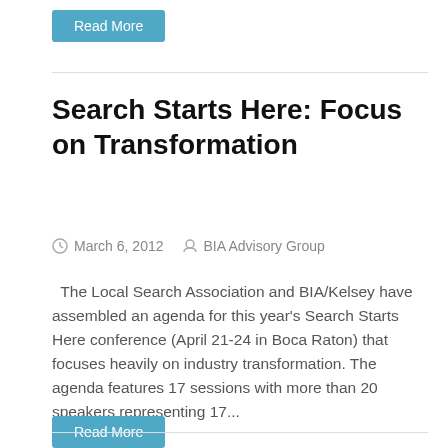Read More
Search Starts Here: Focus on Transformation
March 6, 2012   BIA Advisory Group
The Local Search Association and BIA/Kelsey have assembled an agenda for this year's Search Starts Here conference (April 21-24 in Boca Raton) that focuses heavily on industry transformation. The agenda features 17 sessions with more than 20 speakers representing 17...
Read More